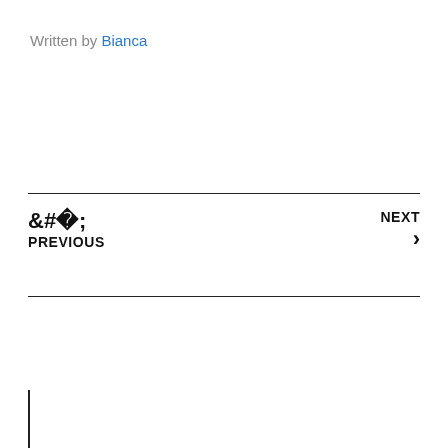Written by Bianca
< PREVIOUS
NEXT >